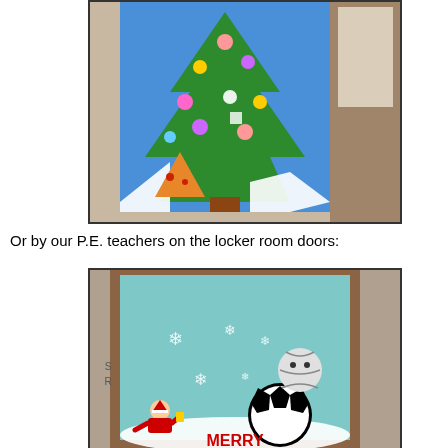[Figure (photo): Photo of a classroom door decorated for Christmas with a blue background, green Christmas tree, colorful ornaments, and paper cutouts including a pizza slice at the bottom.]
Or by our P.E. teachers on the locker room doors:
[Figure (photo): Photo of a locker room door decorated with a sports-themed Christmas scene on a light blue background, featuring a snowman made of a volleyball and soccer ball, snowflakes, Santa Claus, and the word MERRY at the bottom in red letters.]